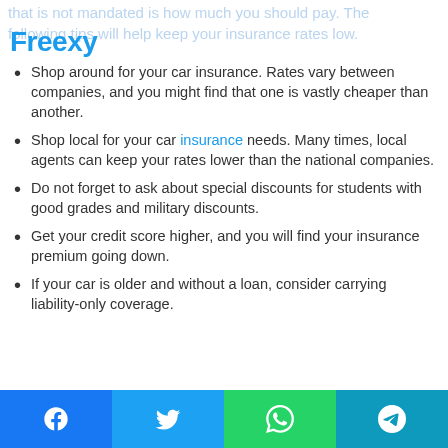that is not mandated is how much you should pay. The following tips will help keep your insurance rates low.
Freexy
Shop around for your car insurance. Rates vary between companies, and you might find that one is vastly cheaper than another.
Shop local for your car insurance needs. Many times, local agents can keep your rates lower than the national companies.
Do not forget to ask about special discounts for students with good grades and military discounts.
Get your credit score higher, and you will find your insurance premium going down.
If your car is older and without a loan, consider carrying liability-only coverage.
Facebook | Twitter | WhatsApp | Telegram